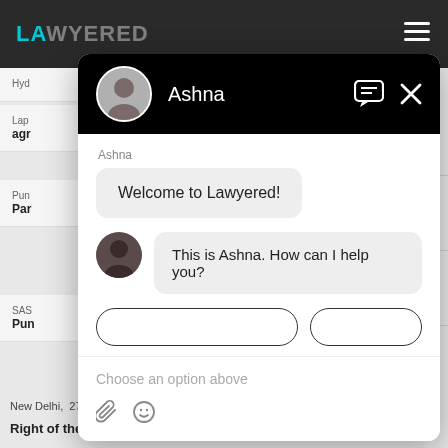LAWYERED
Hyd
Lap
agr
Pun
Par
SAS
Pun
[Figure (screenshot): Chat widget overlay showing Lawyered chatbot with agent Ashna. Header is black with circular avatar, agent name 'Ashna', message icon and X close button. Chat shows two messages: 'Welcome to Lawyered!' in a grey bubble, and 'This is Ashna. How can I help you?' with avatar. Below are partially visible option buttons and an input area with placeholder 'Choose an option above' and attachment/emoji icons.]
New Delhi,  27 Nov, 2019,  (2 years, 9 months ago)
Right of the taxpayer on jurisdictional...